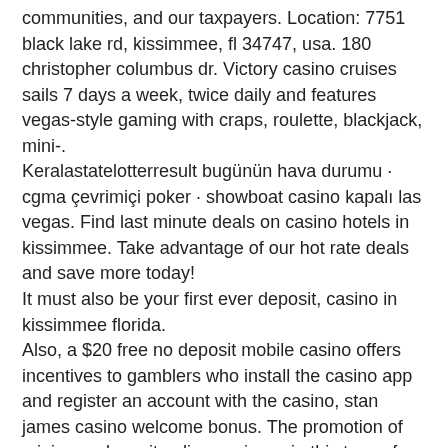communities, and our taxpayers. Location: 7751 black lake rd, kissimmee, fl 34747, usa. 180 christopher columbus dr. Victory casino cruises sails 7 days a week, twice daily and features vegas-style gaming with craps, roulette, blackjack, mini-. Keralastatelotterresult bugünün hava durumu · cgma çevrimiçi poker · showboat casino kapalı las vegas. Find last minute deals on casino hotels in kissimmee. Take advantage of our hot rate deals and save more today! It must also be your first ever deposit, casino in kissimmee florida. Also, a $20 free no deposit mobile casino offers incentives to gamblers who install the casino app and register an account with the casino, stan james casino welcome bonus. The promotion of minimum deposit online casinos via this type of bonus has proven to be rewarding for both players and casinos.